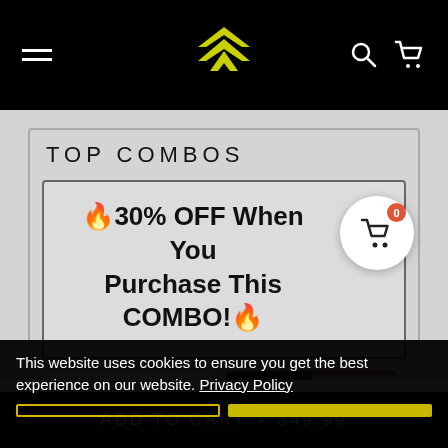Navigation bar with hamburger menu, logo, search and cart icons
TOP COMBOS
🔥30% OFF When You Purchase This COMBO!🔥
[Figure (photo): Two product thumbnail images side by side; left is white/light background product, right shows an American flag with a 'POPULAR' badge]
This website uses cookies to ensure you get the best experience on our website. Privacy Policy
ADD TO CART • $49.99